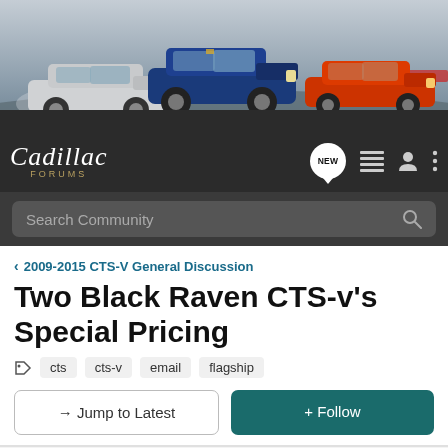[Figure (photo): Banner image showing three Cadillac cars (white, blue, orange) on a race track with grey/cloudy background]
Cadillac Forums navigation bar with logo, NEW badge, list icon, user icon, and menu icon
Search Community
< 2009-2015 CTS-V General Discussion
Two Black Raven CTS-v's Special Pricing
cts  cts-v  email  flagship
→ Jump to Latest
+ Follow